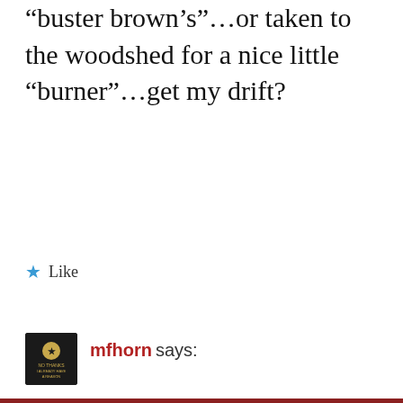“buster brown’s”…or taken to the woodshed for a nice little “burner”…get my drift?
★ Like
mfhorn says:
Graffiti on private or public property needs to be stopped. If you want to ‘tag’ something, draw that cr-p on your own house. Or you & your buddies